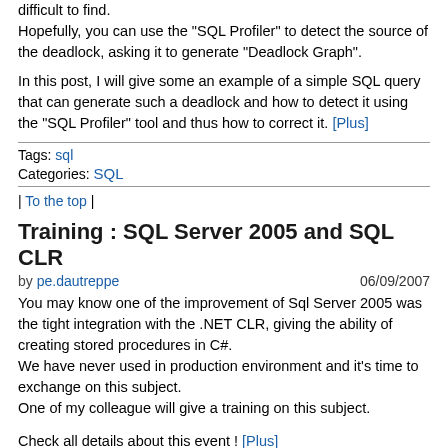difficult to find. Hopefully, you can use the "SQL Profiler" to detect the source of the deadlock, asking it to generate "Deadlock Graph".
In this post, I will give some an example of a simple SQL query that can generate such a deadlock and how to detect it using the "SQL Profiler" tool and thus how to correct it. [Plus]
Tags: sql
Categories: SQL
| To the top |
Training : SQL Server 2005 and SQL CLR
by pe.dautreppe  06/09/2007
You may know one of the improvement of Sql Server 2005 was the tight integration with the .NET CLR, giving the ability of creating stored procedures in C#.
We have never used in production environment and it's time to exchange on this subject.
One of my colleague will give a training on this subject.
Check all details about this event ! [Plus]